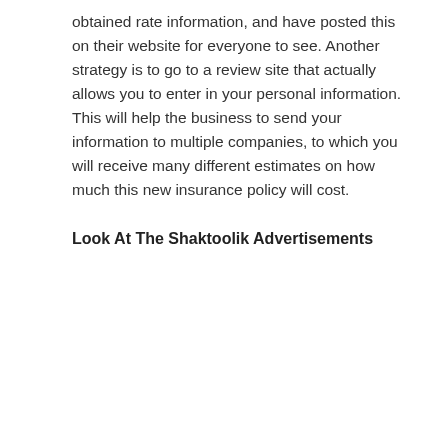obtained rate information, and have posted this on their website for everyone to see. Another strategy is to go to a review site that actually allows you to enter in your personal information. This will help the business to send your information to multiple companies, to which you will receive many different estimates on how much this new insurance policy will cost.
Look At The Shaktoolik Advertisements